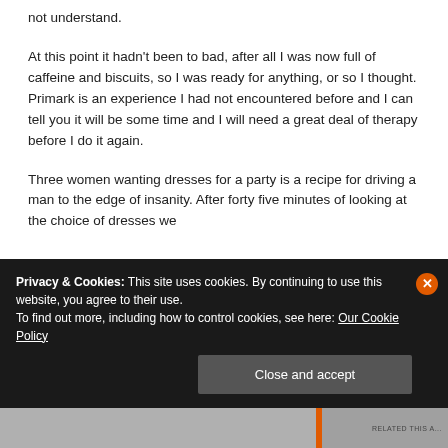not understand.
At this point it hadn’t been to bad, after all I was now full of caffeine and biscuits, so I was ready for anything, or so I thought. Primark is an experience I had not encountered before and I can tell you it will be some time and I will need a great deal of therapy before I do it again.
Three women wanting dresses for a party is a recipe for driving a man to the edge of insanity. After forty five minutes of looking at the choice of dresses we
Privacy & Cookies: This site uses cookies. By continuing to use this website, you agree to their use.
To find out more, including how to control cookies, see here: Our Cookie Policy
Close and accept